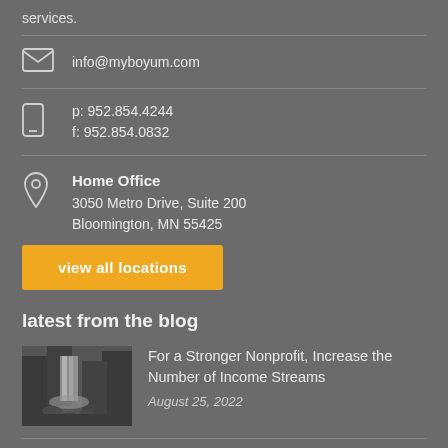services.
info@myboyum.com
p: 952.854.4244
f: 952.854.0832
Home Office
3050 Metro Drive, Suite 200
Bloomington, MN 55425
view all locations
latest from the blog
[Figure (photo): Black and white photo of a waterfall in a forested area]
For a Stronger Nonprofit, Increase the Number of Income Streams
August 25, 2022